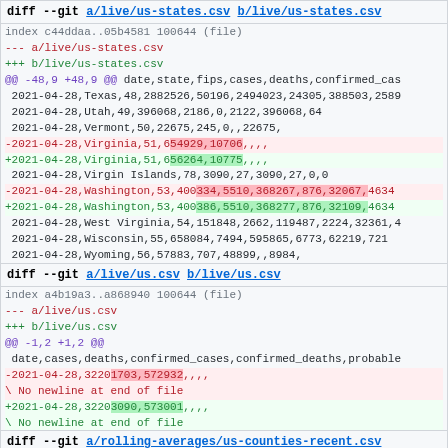diff --git a/live/us-states.csv b/live/us-states.csv
index c44ddaa..05b4581 100644 (file)
--- a/live/us-states.csv
+++ b/live/us-states.csv
@@ -48,9 +48,9 @@ date,state,fips,cases,deaths,confirmed_cas
 2021-04-28,Texas,48,2882526,50196,2494023,24305,388503,2589
 2021-04-28,Utah,49,396068,2186,0,2122,396068,64
 2021-04-28,Vermont,50,22675,245,0,,22675,
-2021-04-28,Virginia,51,654929,10706,,,,
+2021-04-28,Virginia,51,656264,10775,,,,
 2021-04-28,Virgin Islands,78,3090,27,3090,27,0,0
-2021-04-28,Washington,53,400334,5510,368267,876,32067,4634
+2021-04-28,Washington,53,400386,5510,368277,876,32109,4634
 2021-04-28,West Virginia,54,151848,2662,119487,2224,32361,4
 2021-04-28,Wisconsin,55,658084,7494,595865,6773,62219,721
 2021-04-28,Wyoming,56,57883,707,48899,,8984,
\ No newline at end of file
diff --git a/live/us.csv b/live/us.csv
index a4b19a3..a868940 100644 (file)
--- a/live/us.csv
+++ b/live/us.csv
@@ -1,2 +1,2 @@
 date,cases,deaths,confirmed_cases,confirmed_deaths,probable
-2021-04-28,32201703,572932,,,,
\ No newline at end of file
+2021-04-28,32203090,573001,,,,
\ No newline at end of file
diff --git a/rolling-averages/us-counties-recent.csv b/rolling-averages/us-counties-recent.csv